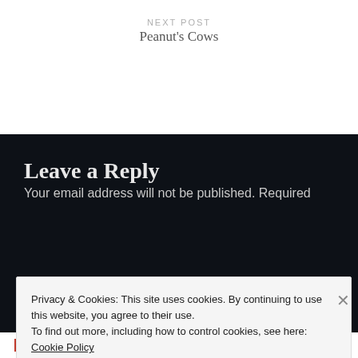NEXT POST
Peanut's Cows
Leave a Reply
Your email address will not be published. Required
Privacy & Cookies: This site uses cookies. By continuing to use this website, you agree to their use.
To find out more, including how to control cookies, see here: Cookie Policy
Close and accept